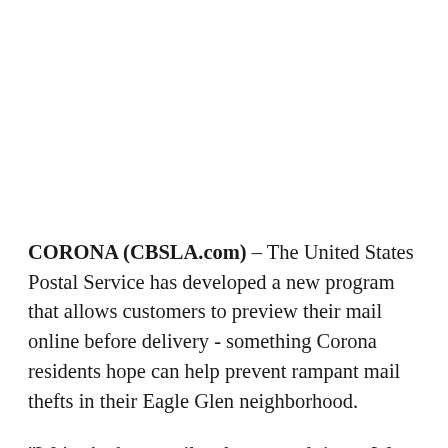CORONA (CBSLA.com) – The United States Postal Service has developed a new program that allows customers to preview their mail online before delivery - something Corona residents hope can help prevent rampant mail thefts in their Eagle Glen neighborhood.
"We've had our mail stolen several times. We have friends and neighbors in the neighborhood that have